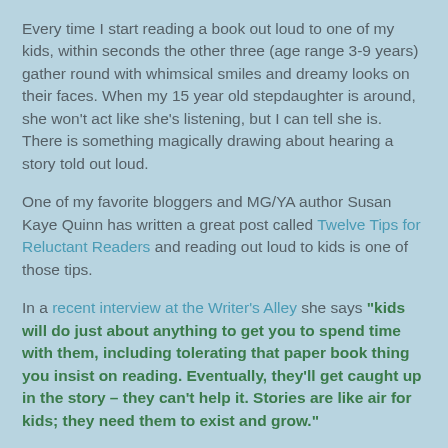Every time I start reading a book out loud to one of my kids, within seconds the other three (age range 3-9 years) gather round with whimsical smiles and dreamy looks on their faces. When my 15 year old stepdaughter is around, she won't act like she's listening, but I can tell she is. There is something magically drawing about hearing a story told out loud.
One of my favorite bloggers and MG/YA author Susan Kaye Quinn has written a great post called Twelve Tips for Reluctant Readers and reading out loud to kids is one of those tips.
In a recent interview at the Writer's Alley she says "kids will do just about anything to get you to spend time with them, including tolerating that paper book thing you insist on reading. Eventually, they'll get caught up in the story – they can't help it. Stories are like air for kids; they need them to exist and grow."
Jemi Fraser has another great blog post about how she reads out loud to kids in the grade-school classes she